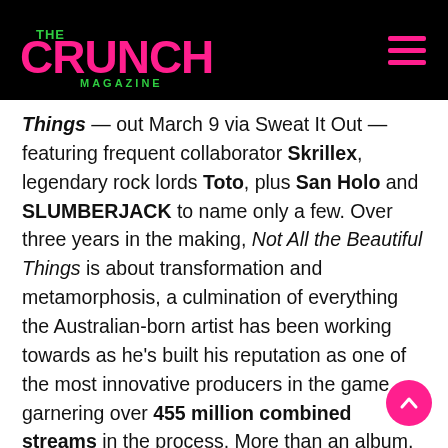THE CRUNCH MAGAZINE
Things — out March 9 via Sweat It Out — featuring frequent collaborator Skrillex, legendary rock lords Toto, plus San Holo and SLUMBERJACK to name only a few. Over three years in the making, Not All the Beautiful Things is about transformation and metamorphosis, a culmination of everything the Australian-born artist has been working towards as he's built his reputation as one of the most innovative producers in the game, garnering over 455 million combined streams in the process. More than an album, it's a fully realised artistic statement in which What So Not is in full control of every aspect, from the stage design and visuals to the music videos and merchandise. "I didn't want to put anything out that